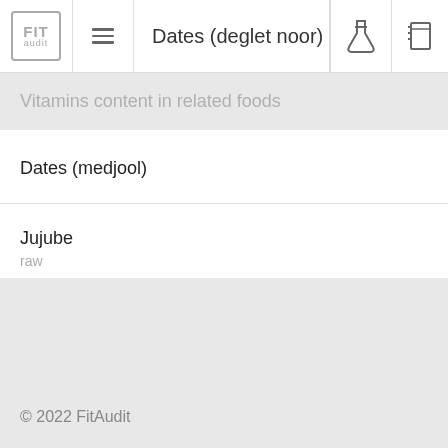Dates (deglet noor)
Vitamins content in related foods
Dates (medjool)
Jujube
raw
© 2022 FitAudit